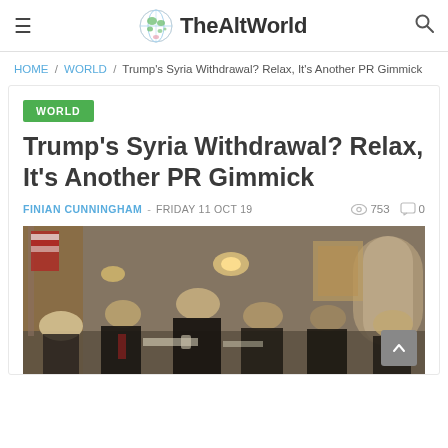TheAltWorld
HOME / WORLD / Trump's Syria Withdrawal? Relax, It's Another PR Gimmick
WORLD
Trump's Syria Withdrawal? Relax, It's Another PR Gimmick
FINIAN CUNNINGHAM - FRIDAY 11 OCT 19  753  0
[Figure (photo): A meeting room scene with several people seated around a table, appearing to be a formal government or White House cabinet meeting. An American flag is visible on the left side.]